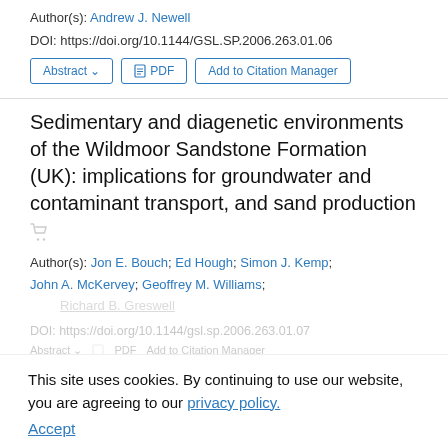Author(s): Andrew J. Newell
DOI: https://doi.org/10.1144/GSL.SP.2006.263.01.06
Abstract | PDF | Add to Citation Manager
Sedimentary and diagenetic environments of the Wildmoor Sandstone Formation (UK): implications for groundwater and contaminant transport, and sand production
Author(s): Jon E. Bouch; Ed Hough; Simon J. Kemp; John A. McKervey; Geoffrey M. Williams; Richard B. Greswell
DOI: https://doi.org/10.1144/gsl.sp.2006.263.01.07
This site uses cookies. By continuing to use our website, you are agreeing to our privacy policy. Accept